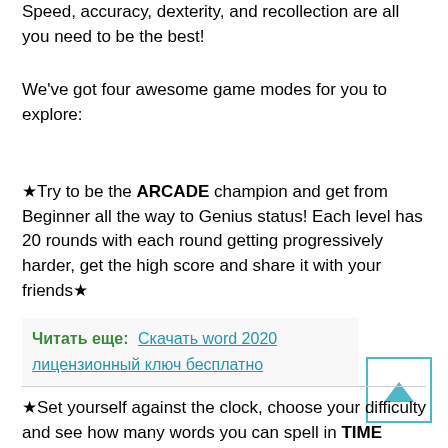Speed, accuracy, dexterity, and recollection are all you need to be the best!
We've got four awesome game modes for you to explore:
★Try to be the ARCADE champion and get from Beginner all the way to Genius status! Each level has 20 rounds with each round getting progressively harder, get the high score and share it with your friends★
Читать еще: Скачать word 2020 лицензионный ключ бесплатно
★Set yourself against the clock, choose your difficulty and see how many words you can spell in TIME CHALLENGE.★